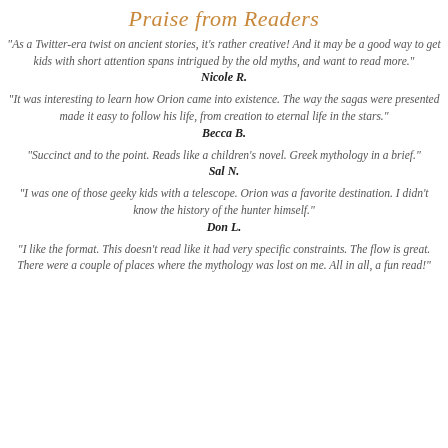Praise from Readers
"As a Twitter-era twist on ancient stories, it's rather creative! And it may be a good way to get kids with short attention spans intrigued by the old myths, and want to read more."
Nicole R.
"It was interesting to learn how Orion came into existence. The way the sagas were presented made it easy to follow his life, from creation to eternal life in the stars."
Becca B.
"Succinct and to the point. Reads like a children's novel. Greek mythology in a brief."
Sal N.
"I was one of those geeky kids with a telescope. Orion was a favorite destination. I didn't know the history of the hunter himself."
Don L.
"I like the format. This doesn't read like it had very specific constraints. The flow is great. There were a couple of places where the mythology was lost on me. All in all, a fun read!"